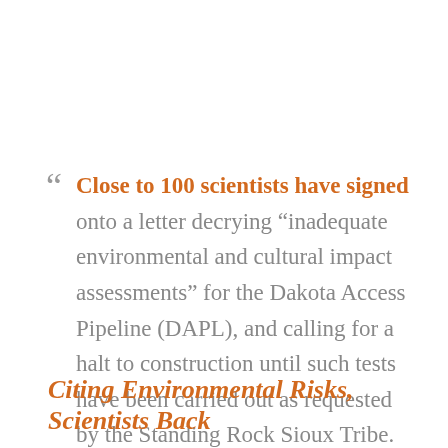“ Close to 100 scientists have signed onto a letter decrying “inadequate environmental and cultural impact assessments” for the Dakota Access Pipeline (DAPL), and calling for a halt to construction until such tests have been carried out as requested by the Standing Rock Sioux Tribe.
Citing Environmental Risks, Scientists Back